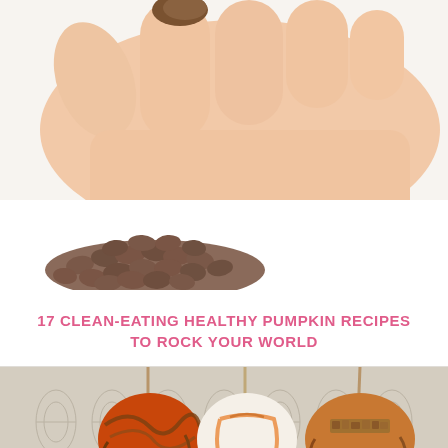[Figure (photo): Close-up of a hand holding a food item (appears to be a chocolate chip cookie or similar baked good) with a pile of chocolate chips visible in the foreground on a white background.]
17 CLEAN-EATING HEALTHY PUMPKIN RECIPES TO ROCK YOUR WORLD
[Figure (photo): Caramel apples on sticks with various toppings including caramel drizzle, white chocolate, and chopped nuts, displayed against a decorative patterned background.]